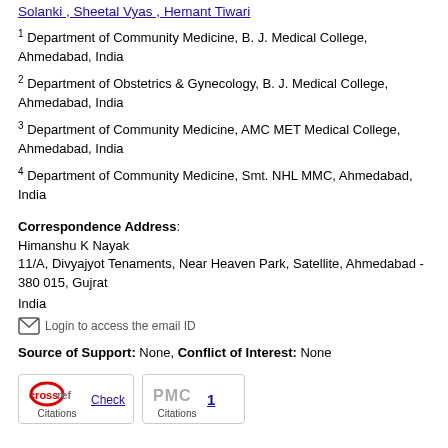Solanki , Sheetal Vyas , Hemant Tiwari
1 Department of Community Medicine, B. J. Medical College, Ahmedabad, India
2 Department of Obstetrics & Gynecology, B. J. Medical College, Ahmedabad, India
3 Department of Community Medicine, AMC MET Medical College, Ahmedabad, India
4 Department of Community Medicine, Smt. NHL MMC, Ahmedabad, India
Correspondence Address:
Himanshu K Nayak
11/A, Divyajyot Tenaments, Near Heaven Park, Satellite, Ahmedabad - 380 015, Gujrat
India
Login to access the email ID
Source of Support: None, Conflict of Interest: None
[Figure (other): CrossRef Citations badge with Check link and PMC Citations badge with count 1]